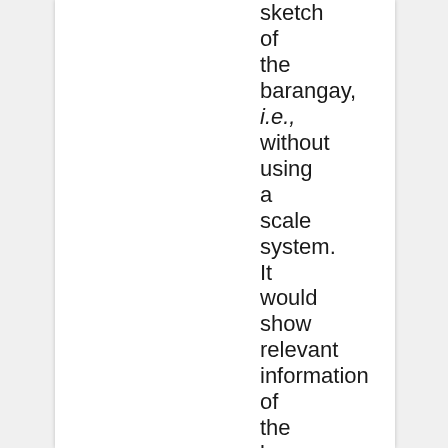sketch of the barangay, i.e., without using a scale system. It would show relevant information of the barangay. Among others it should